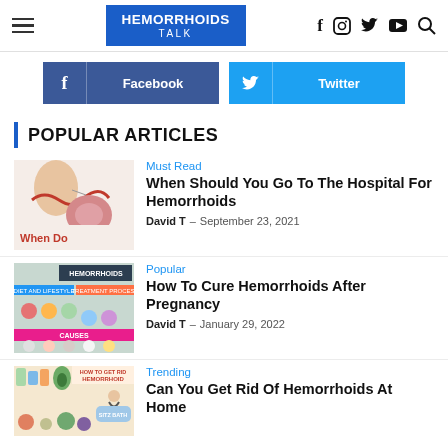HEMORRHOIDS TALK — navigation header with social icons
[Figure (screenshot): Facebook and Twitter social sharing buttons]
POPULAR ARTICLES
[Figure (illustration): Medical illustration of hemorrhoids anatomy with text 'When Do']
Must Read
When Should You Go To The Hospital For Hemorrhoids
David T  –  September 23, 2021
[Figure (infographic): Hemorrhoids infographic chart with colored sections]
Popular
How To Cure Hemorrhoids After Pregnancy
David T  –  January 29, 2022
[Figure (infographic): How to get rid of hemorrhoids infographic]
Trending
Can You Get Rid Of Hemorrhoids At Home